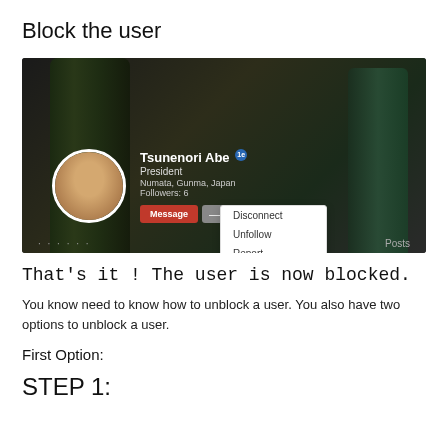Block the user
[Figure (screenshot): LinkedIn profile page of Tsunenori Abe (President, Numata, Gunma, Japan, Followers: 6) with a dropdown menu showing options: Disconnect, Unfollow, Report, Block — with Block highlighted in a red border box.]
That's it ! The user is now blocked.
You know need to know how to unblock a user. You also have two options to unblock a user.
First Option:
STEP 1: